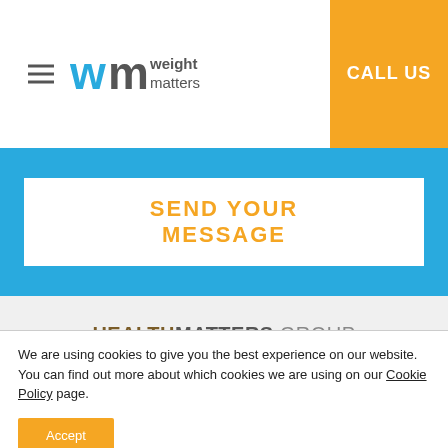[Figure (logo): Weight Matters logo with WM monogram in blue/teal and hamburger menu icon]
CALL US
SEND YOUR MESSAGE
[Figure (logo): Health Matters Group - Integrated Health Solutions logo with weight and emotion sub-brand logos]
We are using cookies to give you the best experience on our website.
You can find out more about which cookies we are using on our Cookie Policy page.
Accept